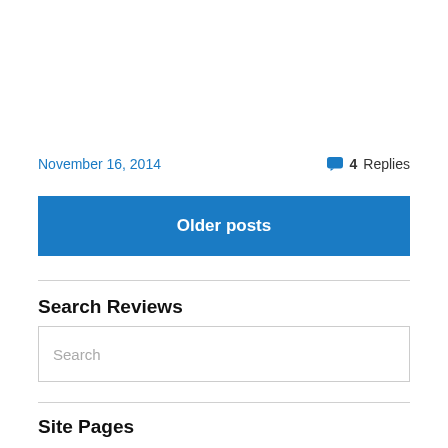November 16, 2014
4 Replies
Older posts
Search Reviews
Search
Site Pages